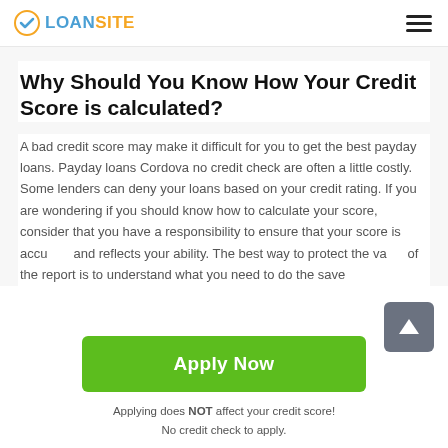LOANSITE
Why Should You Know How Your Credit Score is calculated?
A bad credit score may make it difficult for you to get the best payday loans. Payday loans Cordova no credit check are often a little costly. Some lenders can deny your loans based on your credit rating. If you are wondering if you should know how to calculate your score, consider that you have a responsibility to ensure that your score is accurate and reflects your ability. The best way to protect the value of the report is to understand what you need to do the save
[Figure (other): Green Apply Now button]
Applying does NOT affect your credit score!
No credit check to apply.